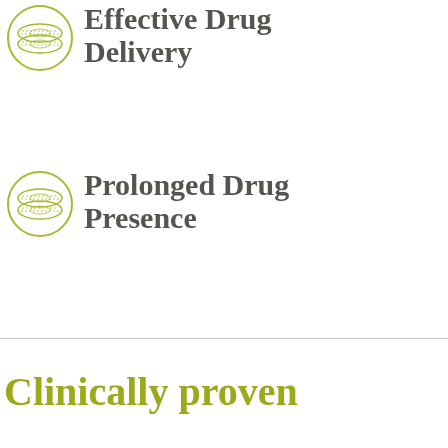Effective Drug Delivery
Prolonged Drug Presence
Clinically proven